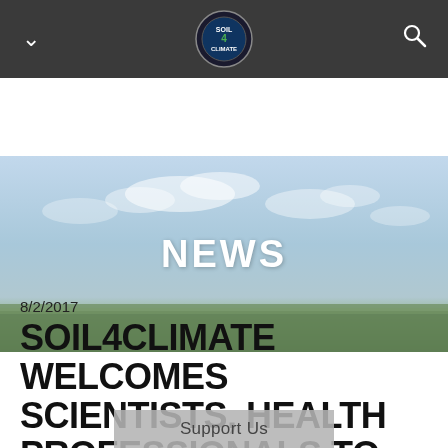[Figure (screenshot): Website navigation bar with dark background, chevron/dropdown icon on left, Soil4Climate circular logo in center, search icon on right]
[Figure (photo): Hero banner showing a sky with clouds above a green grass/field, with the word NEWS overlaid in large white bold letters]
8/2/2017
SOIL4CLIMATE WELCOMES SCIENTISTS, HEALTH PROFESSIONALS TO ADVISORY BOARD
Support Us